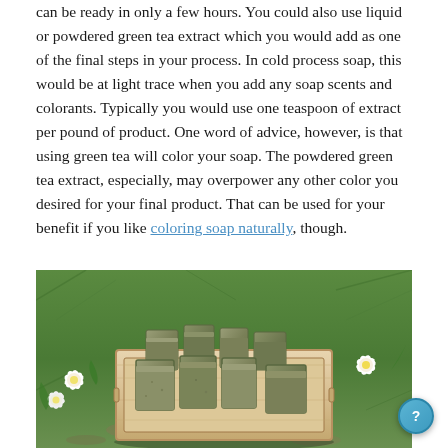can be ready in only a few hours. You could also use liquid or powdered green tea extract which you would add as one of the final steps in your process. In cold process soap, this would be at light trace when you add any soap scents and colorants. Typically you would use one teaspoon of extract per pound of product. One word of advice, however, is that using green tea will color your soap. The powdered green tea extract, especially, may overpower any other color you desired for your final product. That can be used for your benefit if you like coloring soap naturally, though.
[Figure (photo): Photo of handmade green tea soap bars arranged in a wooden box, placed on grass, with white flowers beside the box.]